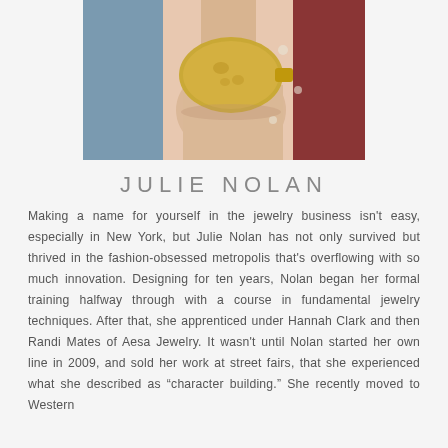[Figure (photo): Close-up photo of a person's wrist wearing a large gold oval disc bracelet/cuff, with a dark red/maroon and blue garment in the background.]
JULIE NOLAN
Making a name for yourself in the jewelry business isn't easy, especially in New York, but Julie Nolan has not only survived but thrived in the fashion-obsessed metropolis that's overflowing with so much innovation. Designing for ten years, Nolan began her formal training halfway through with a course in fundamental jewelry techniques. After that, she apprenticed under Hannah Clark and then Randi Mates of Aesa Jewelry. It wasn't until Nolan started her own line in 2009, and sold her work at street fairs, that she experienced what she described as “character building.” She recently moved to Western